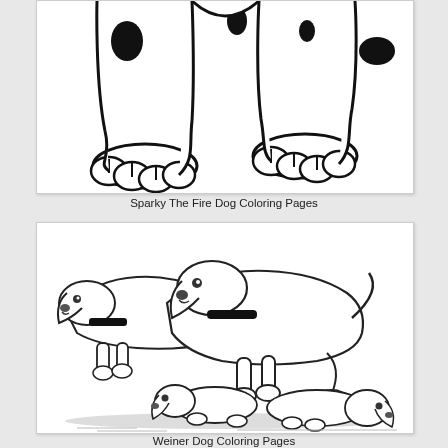[Figure (illustration): Cropped coloring page illustration showing the lower body and front paws of a cartoon dalmatian-style dog (Sparky the Fire Dog), black and white line drawing with spots]
Sparky The Fire Dog Coloring Pages
[Figure (illustration): Detailed black and white coloring page illustration of two adult dachshund dogs and two dachshund puppies sitting together as a family group, realistic pencil-style line drawing]
Weiner Dog Coloring Pages